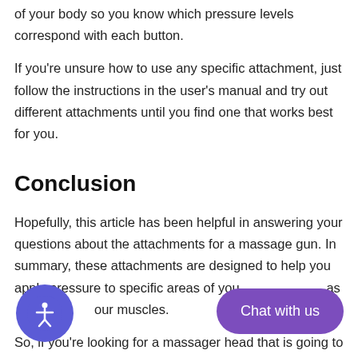of your body so you know which pressure levels correspond with each button.
If you're unsure how to use any specific attachment, just follow the instructions in the user's manual and try out different attachments until you find one that works best for you.
Conclusion
Hopefully, this article has been helpful in answering your questions about the attachments for a massage gun. In summary, these attachments are designed to help you apply pressure to specific areas of your body, as well as relax your muscles.
So, if you're looking for a massager head that is going to